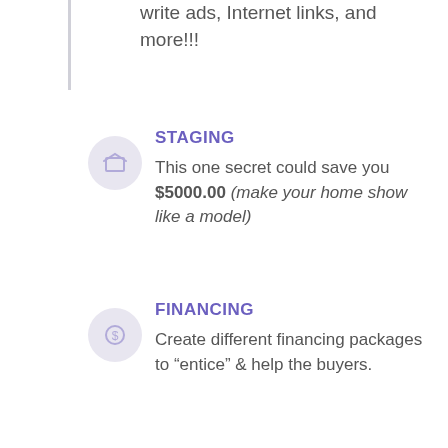write ads, Internet links, and more!!!
STAGING
This one secret could save you $5000.00 (make your home show like a model)
FINANCING
Create different financing packages to “entice” & help the buyers.